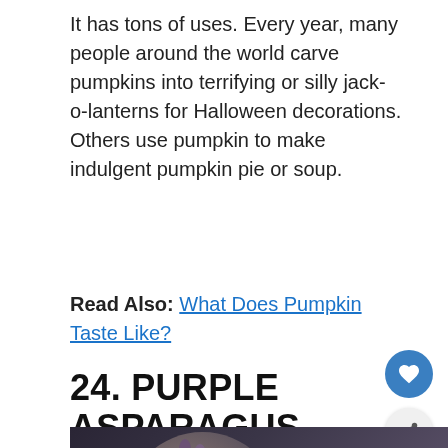It has tons of uses. Every year, many people around the world carve pumpkins into terrifying or silly jack-o-lanterns for Halloween decorations. Others use pumpkin to make indulgent pumpkin pie or soup.
Read Also: What Does Pumpkin Taste Like?
24. PURPLE ASPARAGUS
[Figure (photo): Photo of purple asparagus spears on a round wooden plate with a knife, on a dark blue-gray background. Overlaid with a 'WHAT'S NEXT' recommendation widget showing '15+ Vegetables...' with a green circular thumbnail.]